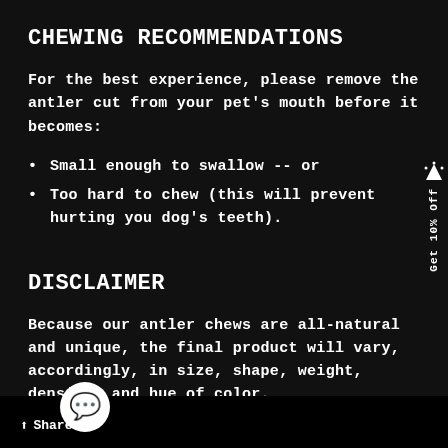CHEWING RECOMMENDATIONS
For the best experience, please remove the antler cut from your pet's mouth before it becomes:
Small enough to swallow -- or
Too hard to chew (this will prevent hurting you dog's teeth).
DISCLAIMER
Because our antler chews are all-natural and unique, the final product will vary, accordingly, in size, shape, weight, density, and hue of color.